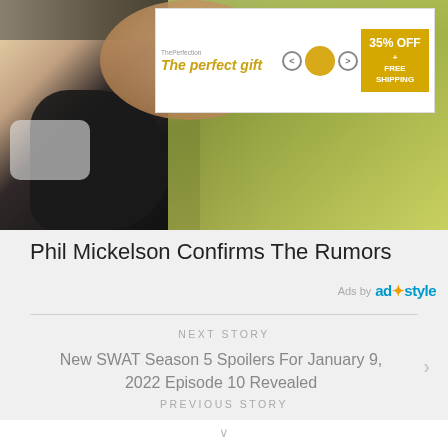[Figure (photo): Photo of Phil Mickelson, close-up view from behind, on a golf course with blurred green background. An advertisement banner overlaid on top reading 'The perfect gift' with bowl images and '35% OFF + FREE SHIPPING' in gold.]
Phil Mickelson Confirms The Rumors
Ads by ad*style
NEXT STORY
New SWAT Season 5 Spoilers For January 9, 2022 Episode 10 Revealed
PREVIOUS STORY
New NCIS Los Angeles Season 13 Spoilers For January 9, 2022 Episode 8 Revealed